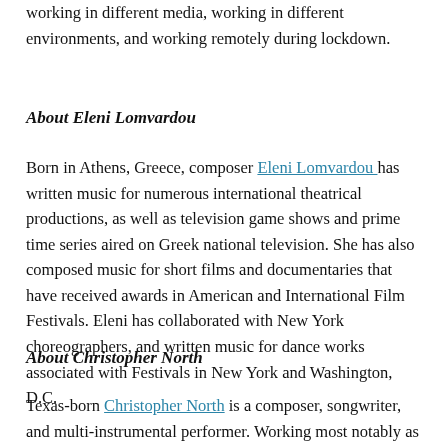working in different media, working in different environments, and working remotely during lockdown.
About Eleni Lomvardou
Born in Athens, Greece, composer Eleni Lomvardou has written music for numerous international theatrical productions, as well as television game shows and prime time series aired on Greek national television. She has also composed music for short films and documentaries that have received awards in American and International Film Festivals. Eleni has collaborated with New York choreographers, and written music for dance works associated with Festivals in New York and Washington, D.C.
About Christopher North
Texas-born Christopher North is a composer, songwriter, and multi-instrumental performer. Working most notably as a film